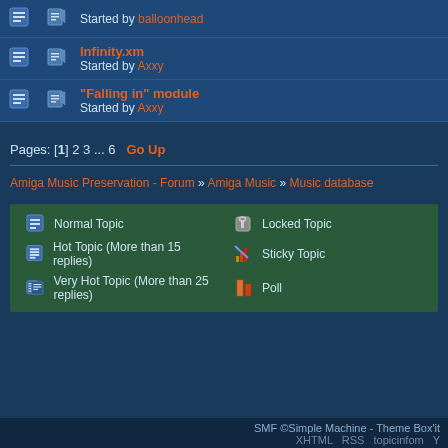| [icon] | [icon] | Started by balloonhead |
| [icon] | [icon] | Infinity.xm
Started by Axxy |
| [icon] | [icon] | "Falling in" module
Started by Axxy |
Pages: [1] 2 3 ... 6   Go Up
Amiga Music Preservation - Forum » Amiga Music » Music database
Normal Topic | Locked Topic | Hot Topic (More than 15 replies) | Sticky Topic | Very Hot Topic (More than 25 replies) | Poll
SMF ©Simple Machine - Theme Box'it